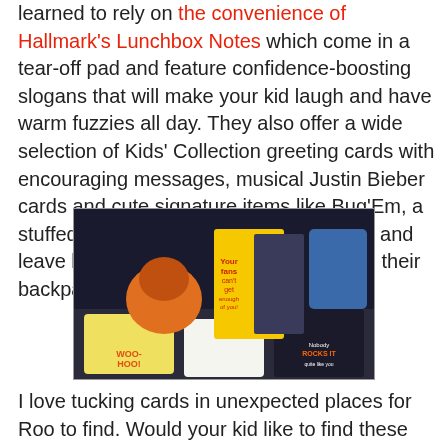learned to rely on the convenience of Hallmark's Lunchbox Notes which come in a tear-off pad and feature confidence-boosting slogans that will make your kid laugh and have warm fuzzies all day. They also offer a wide selection of Kids' Collection greeting cards with encouraging messages, musical Justin Bieber cards and cute signature items like Bug'Em, a stuffed ladybug you can fill with tchotkes and leave beside their homework or tuck into their backpack.
[Figure (photo): Photo showing a collection of Hallmark greeting cards, a stuffed bug plush toy, Justin Bieber merchandise items including cards and a book titled 'Nobody Rocks It quite like you', lunchbox notes, and other Hallmark kids products arranged on a dark surface.]
I love tucking cards in unexpected places for Roo to find. Would your kid like to find these stashed in their lunches or